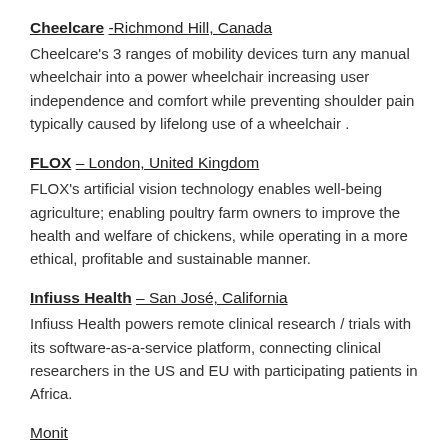Cheelcare -Richmond Hill, Canada
Cheelcare's 3 ranges of mobility devices turn any manual wheelchair into a power wheelchair increasing user independence and comfort while preventing shoulder pain typically caused by lifelong use of a wheelchair .
FLOX – London, United Kingdom
FLOX's artificial vision technology enables well-being agriculture; enabling poultry farm owners to improve the health and welfare of chickens, while operating in a more ethical, profitable and sustainable manner.
Infiuss Health – San José, California
Infiuss Health powers remote clinical research / trials with its software-as-a-service platform, connecting clinical researchers in the US and EU with participating patients in Africa.
Monit (partially visible at bottom)